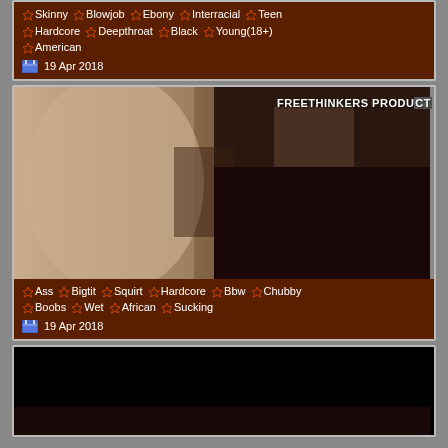Skinny Blowjob Ebony Interracial Teen Hardcore Deepthroat Black Young(18+) American
19 Apr 2018
[Figure (photo): Video thumbnail with watermark FREETHINKERS PRODUCT]
Ass Bigtit Squirt Hardcore Bbw Chubby Boobs Wet African Sucking
19 Apr 2018
[Figure (photo): Black/dark video thumbnail]